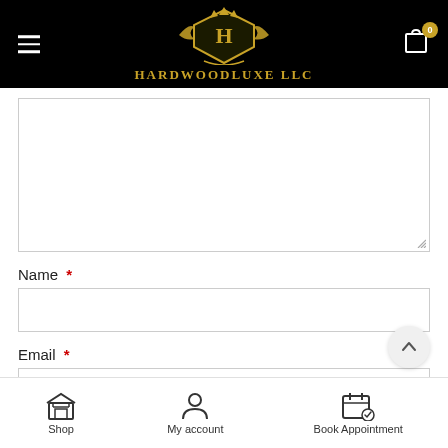[Figure (logo): HardwoodLuxe LLC logo with golden crest shield and ornate decorations on black background header]
[Figure (screenshot): Textarea input box (comment/message field) with resize handle at bottom right]
Name *
[Figure (screenshot): Name text input field]
Email *
[Figure (screenshot): Email text input field (partially visible)]
[Figure (screenshot): Bottom navigation bar with Shop, My account, and Book Appointment icons]